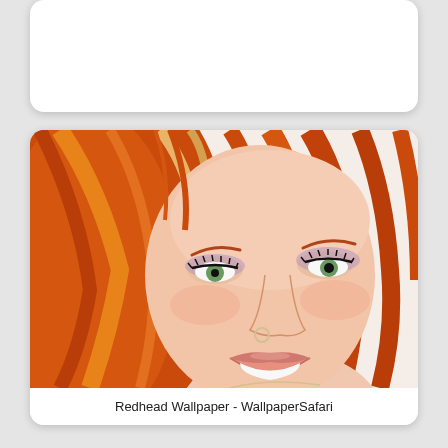[Figure (photo): Partial white card visible at top of page, cropped]
[Figure (photo): Close-up portrait photo of a smiling redhead woman with green eyes, nose ring, and makeup, set inside a white rounded card]
Redhead Wallpaper - WallpaperSafari